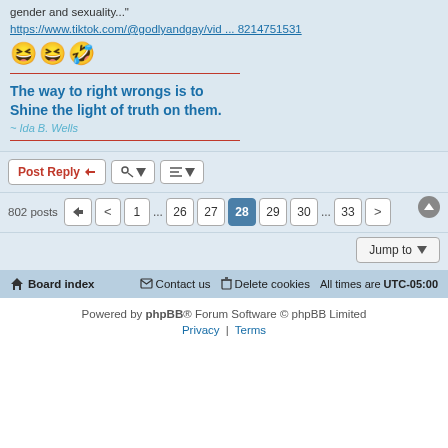gender and sexuality..."
https://www.tiktok.com/@godlyandgay/vid ... 8214751531
[Figure (illustration): Three laughing emoji faces side by side]
The way to right wrongs is to Shine the light of truth on them.
~ Ida B. Wells
Post Reply | tool buttons | sort buttons
802 posts | page navigation: 1 ... 26 27 28 29 30 ... 33
Jump to
Board index | Contact us | Delete cookies | All times are UTC-05:00
Powered by phpBB® Forum Software © phpBB Limited
Privacy | Terms